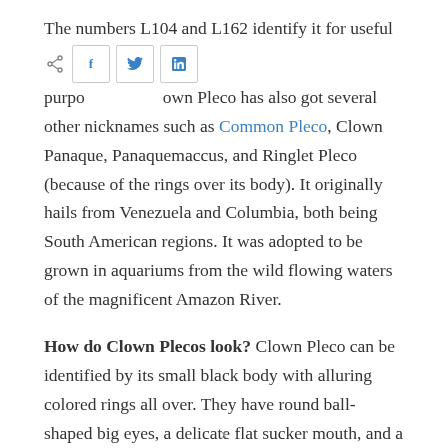The numbers L104 and L162 identify it for useful purposes. The Clown Pleco has also got several other nicknames such as Common Pleco, Clown Panaque, Panaquemaccus, and Ringlet Pleco (because of the rings over its body). It originally hails from Venezuela and Columbia, both being South American regions. It was adopted to be grown in aquariums from the wild flowing waters of the magnificent Amazon River.
How do Clown Plecos look?
Clown Pleco can be identified by its small black body with alluring colored rings all over. They have round ball-shaped big eyes, a delicate flat sucker mouth, and a flat belly. The color of